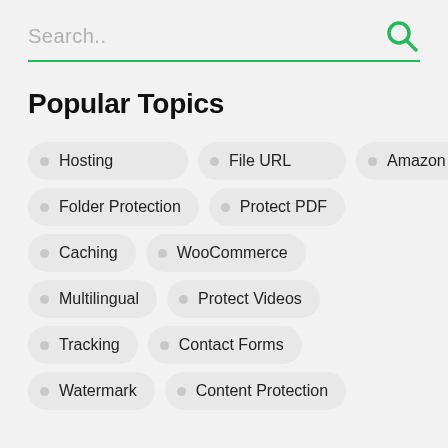Search..
Popular Topics
Hosting
File URL
Amazon S3
Folder Protection
Protect PDF
Caching
WooCommerce
Multilingual
Protect Videos
Tracking
Contact Forms
Watermark
Content Protection